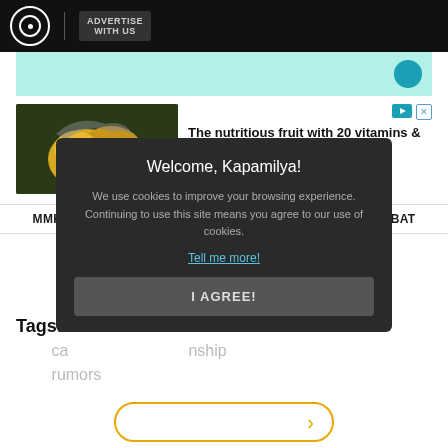ABS-CBN | ADVERTISE WITH US
[Figure (screenshot): Teal/cyan advertisement banner with a blue circle element]
[Figure (screenshot): Advertisement banner showing hands holding kiwi fruit (Zespri Organic) with text 'The nutritious fruit with 20 vitamins & minerals'. Has play and X icons top right.]
MMK TUBONG NA KANIN  |  HIWAGA NG KAMBAT
[Figure (screenshot): Cookie consent modal overlay with dark background. Title: 'Welcome, Kapamilya!' Body: 'We use cookies to improve your browsing experience. Continuing to use this site means you agree to our use of cookies.' Link: 'Tell me more!' Button: 'I AGREE!']
Tags: Ec... ache ca... nship rumors
[Figure (screenshot): Partial view of a rounded rectangle button with orange/gold border at the bottom of the page]